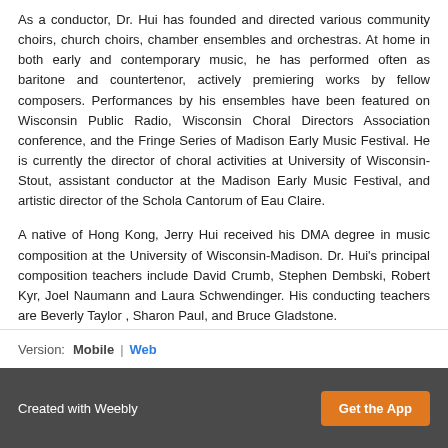As a conductor, Dr. Hui has founded and directed various community choirs, church choirs, chamber ensembles and orchestras. At home in both early and contemporary music, he has performed often as baritone and countertenor, actively premiering works by fellow composers. Performances by his ensembles have been featured on Wisconsin Public Radio, Wisconsin Choral Directors Association conference, and the Fringe Series of Madison Early Music Festival. He is currently the director of choral activities at University of Wisconsin-Stout, assistant conductor at the Madison Early Music Festival, and artistic director of the Schola Cantorum of Eau Claire.
A native of Hong Kong, Jerry Hui received his DMA degree in music composition at the University of Wisconsin-Madison. Dr. Hui's principal composition teachers include David Crumb, Stephen Dembski, Robert Kyr, Joel Naumann and Laura Schwendinger. His conducting teachers are Beverly Taylor , Sharon Paul, and Bruce Gladstone.
Version:  Mobile  |  Web
Created with Weebly  Get the App